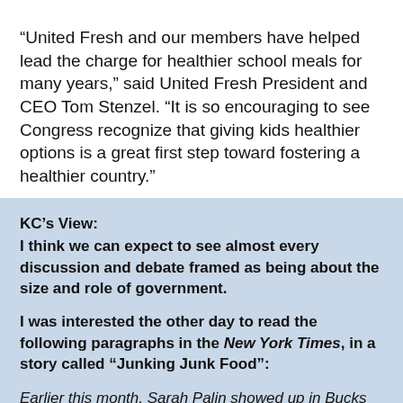“United Fresh and our members have helped lead the charge for healthier school meals for many years,” said United Fresh President and CEO Tom Stenzel. “It is so encouraging to see Congress recognize that giving kids healthier options is a great first step toward fostering a healthier country.”
KC’s View:
I think we can expect to see almost every discussion and debate framed as being about the size and role of government.

I was interested the other day to read the following paragraphs in the New York Times, in a story called “Junking Junk Food”:

Earlier this month, Sarah Palin showed up in Bucks County, Pa., with “dozens and